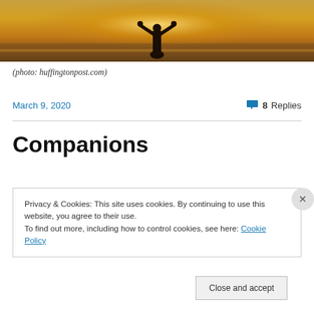[Figure (photo): Silhouette of a person with arms raised against a warm sunset over water background]
(photo: huffingtonpost.com)
March 9, 2020    8 Replies
Companions
Privacy & Cookies: This site uses cookies. By continuing to use this website, you agree to their use.
To find out more, including how to control cookies, see here: Cookie Policy